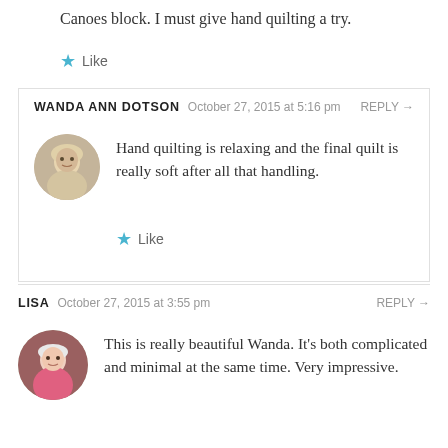Canoes block. I must give hand quilting a try.
Like
WANDA ANN DOTSON  October 27, 2015 at 5:16 pm  REPLY →
Hand quilting is relaxing and the final quilt is really soft after all that handling.
Like
LISA  October 27, 2015 at 3:55 pm  REPLY →
This is really beautiful Wanda. It's both complicated and minimal at the same time. Very impressive.